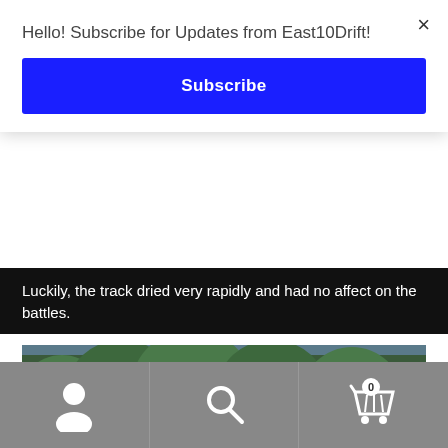Hello! Subscribe for Updates from East10Drift!
Subscribe
×
Luckily, the track dried very rapidly and had no affect on the battles.
[Figure (photo): Red drift car surrounded by thick white smoke on a racetrack, with green trees in the background]
User icon | Search icon | Cart icon with badge 0